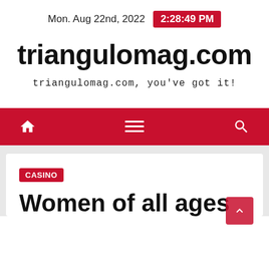Mon. Aug 22nd, 2022  2:28:49 PM
triangulomag.com
triangulomag.com, you've got it!
[Figure (other): Red navigation bar with home icon, hamburger menu icon, and search icon]
CASINO
Women of all ages